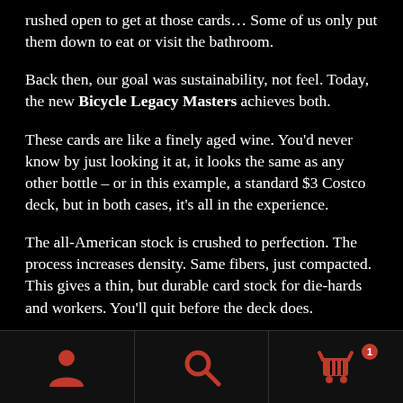rushed open to get at those cards... Some of us only put them down to eat or visit the bathroom.
Back then, our goal was sustainability, not feel. Today, the new Bicycle Legacy Masters achieves both.
These cards are like a finely aged wine. You'd never know by just looking it at, it looks the same as any other bottle – or in this example, a standard $3 Costco deck, but in both cases, it's all in the experience.
The all-American stock is crushed to perfection. The process increases density. Same fibers, just compacted. This gives a thin, but durable card stock for die-hards and workers. You'll quit before the deck does.
[Figure (infographic): Mobile app bottom navigation bar with three icon buttons: a red person/account icon on the left, a red search magnifying glass icon in the center, and a red shopping cart icon with a badge showing '1' on the right.]